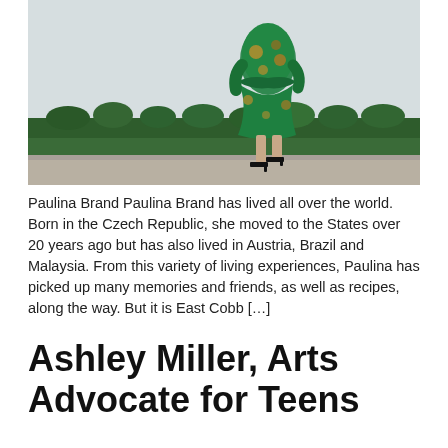[Figure (photo): A person wearing a green floral dress and black high heels walking in front of a hedge, photographed from the side/back showing only the body from shoulders down.]
Paulina Brand Paulina Brand has lived all over the world. Born in the Czech Republic, she moved to the States over 20 years ago but has also lived in Austria, Brazil and Malaysia. From this variety of living experiences, Paulina has picked up many memories and friends, as well as recipes, along the way. But it is East Cobb […]
Ashley Miller, Arts Advocate for Teens